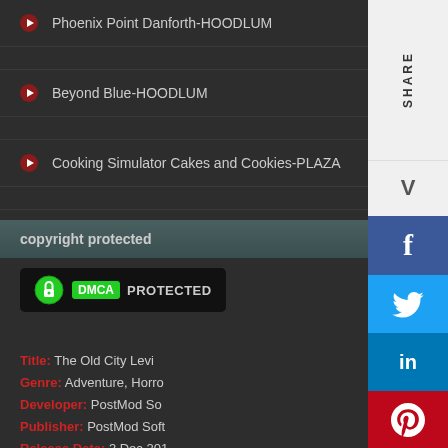Phoenix Point Danforth-HOODLUM
Beyond Blue-HOODLUM
Cooking Simulator Cakes and Cookies-PLAZA
copyright protected
[Figure (logo): DMCA PROTECTED badge with green lock icon]
Title: The Old City Levi...
Genre: Adventure, Horro...
Developer: PostMod So...
Publisher: PostMod Soft...
Release Date: 3 Dec 201...
File Size: 2.22 GB / Sin...
Mirrors: Mega.nz, 1Fich...
Free Download The Old City: Le... progress through the narrative, yo... controlling who communicates th...
[Figure (infographic): Social share sidebar with SHARE label, V button, Facebook f, Twitter bird, LinkedIn in, Pinterest P buttons]